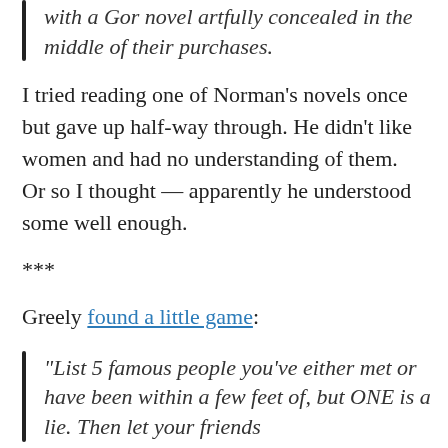with a Gor novel artfully concealed in the middle of their purchases.
I tried reading one of Norman's novels once but gave up half-way through. He didn't like women and had no understanding of them. Or so I thought — apparently he understood some well enough.
***
Greely found a little game:
“List 5 famous people you’ve either met or have been within a few feet of, but ONE is a lie. Then let your friends